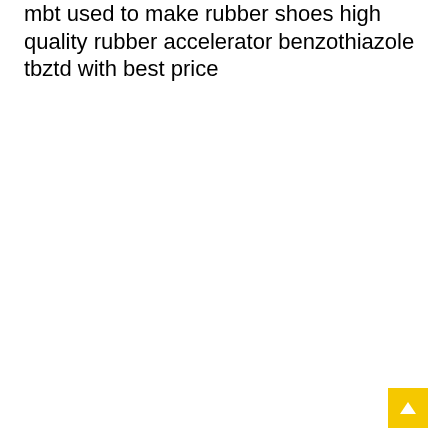mbt used to make rubber shoes high quality rubber accelerator benzothiazole tbztd with best price